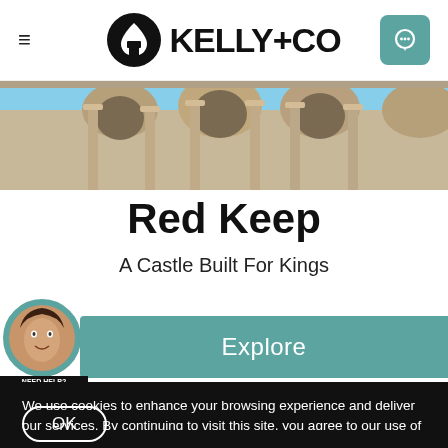KELLY+CO
[Figure (photo): Photograph of stone castle architecture with arched columns and stone facade, blue sky visible on right side]
Red Keep
A Castle Built For Kings
Explore
[Figure (photo): Live chat widget: avatar photo of a woman smiling, with label NEED HELP? CLICK TO LIVE CHAT]
We use cookies to enhance your browsing experience and deliver our services. By continuing to visit this site, you agree to our use of cookies. More info
OK